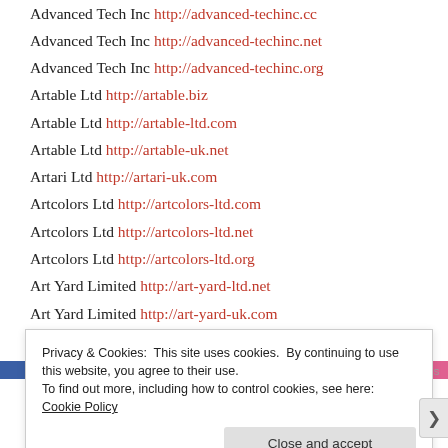Advanced Tech Inc http://advanced-techinc.cc
Advanced Tech Inc http://advanced-techinc.net
Advanced Tech Inc http://advanced-techinc.org
Artable Ltd http://artable.biz
Artable Ltd http://artable-ltd.com
Artable Ltd http://artable-uk.net
Artari Ltd http://artari-uk.com
Artcolors Ltd http://artcolors-ltd.com
Artcolors Ltd http://artcolors-ltd.net
Artcolors Ltd http://artcolors-ltd.org
Art Yard Limited http://art-yard-ltd.net
Art Yard Limited http://art-yard-uk.com
Art Yard Limited http://art-yard-ltd.org
Bonlcraft Italia S.r.l. http://bonlcraft-italia.biz
Privacy & Cookies: This site uses cookies. By continuing to use this website, you agree to their use. To find out more, including how to control cookies, see here: Cookie Policy